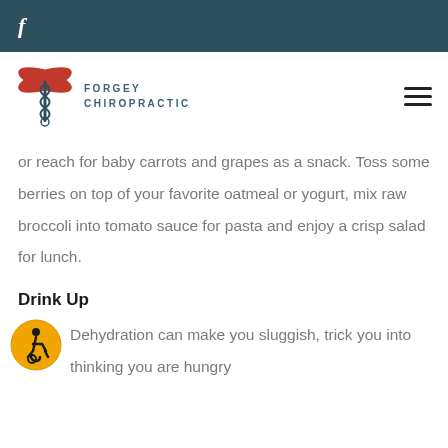f
[Figure (logo): Forgey Chiropractic logo with caduceus symbol and text FORGEY CHIROPRACTIC]
or reach for baby carrots and grapes as a snack. Toss some berries on top of your favorite oatmeal or yogurt, mix raw broccoli into tomato sauce for pasta and enjoy a crisp salad for lunch.
Drink Up
Dehydration can make you sluggish, trick you into thinking you are hungry